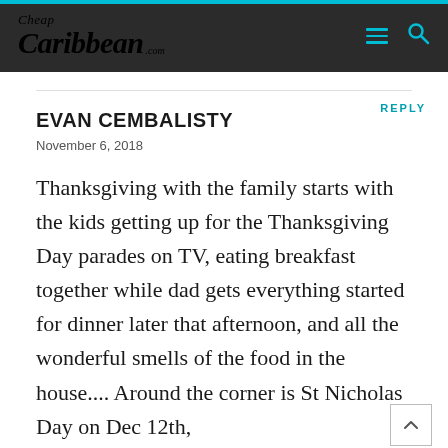[Figure (logo): Cheap Caribbean .com logo in white italic script on dark background navigation bar with teal hamburger menu and search icons]
REPLY
EVAN CEMBALISTY
November 6, 2018
Thanksgiving with the family starts with the kids getting up for the Thanksgiving Day parades on TV, eating breakfast together while dad gets everything started for dinner later that afternoon, and all the wonderful smells of the food in the house.... Around the corner is St Nicholas Day on Dec 12th,